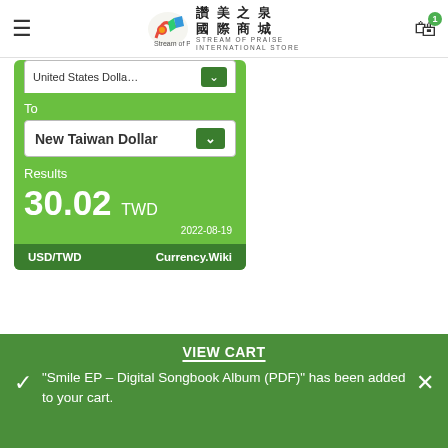Stream of Praise International Store — 讚美之泉 國際商城
[Figure (screenshot): Currency converter widget showing conversion from United States Dollar to New Taiwan Dollar with result 30.02 TWD, date 2022-08-19, powered by Currency.Wiki]
ONLINE STORES IN OTHER COUNTRIES
US/International 美/國際
VIEW CART
"Smile EP – Digital Songbook Album (PDF)" has been added to your cart.